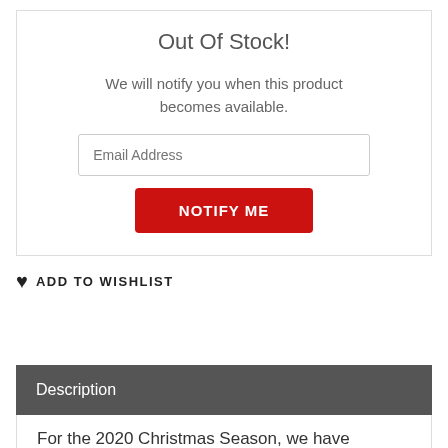Out Of Stock!
We will notify you when this product becomes available.
Email Address
NOTIFY ME
♥ ADD TO WISHLIST
Description
For the 2020 Christmas Season, we have